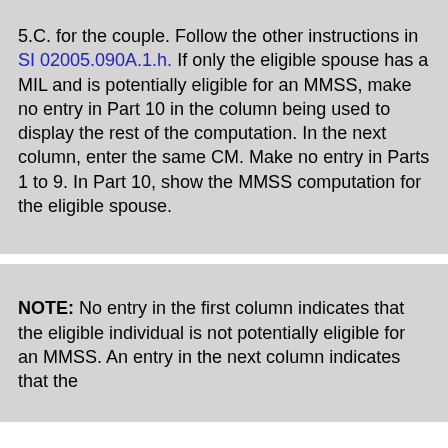5.C. for the couple. Follow the other instructions in SI 02005.090A.1.h. If only the eligible spouse has a MIL and is potentially eligible for an MMSS, make no entry in Part 10 in the column being used to display the rest of the computation. In the next column, enter the same CM. Make no entry in Parts 1 to 9. In Part 10, show the MMSS computation for the eligible spouse.
NOTE: No entry in the first column indicates that the eligible individual is not potentially eligible for an MMSS. An entry in the next column indicates that the